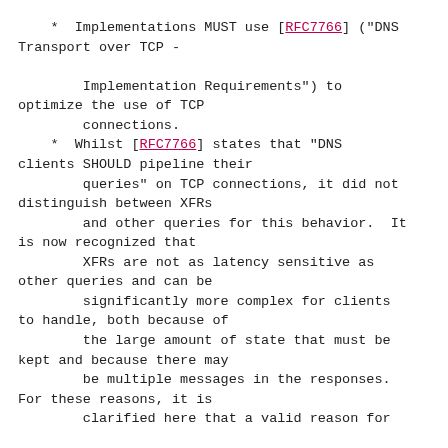*  Implementations MUST use [RFC7766] ("DNS Transport over TCP -

        Implementation Requirements") to optimize the use of TCP
        connections.
*  Whilst [RFC7766] states that "DNS clients SHOULD pipeline their
        queries" on TCP connections, it did not distinguish between XFRs
        and other queries for this behavior.  It is now recognized that
        XFRs are not as latency sensitive as other queries and can be
        significantly more complex for clients to handle, both because of
        the large amount of state that must be kept and because there may
        be multiple messages in the responses. For these reasons, it is
        clarified here that a valid reason for